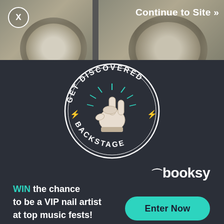[Figure (photo): Two circular stone or ceramic bowls/cups photographed from above on a dark surface, shown as image strip at top]
X
Continue to Site »
[Figure (illustration): Circular badge with text 'GET DISCOVERED BACKSTAGE' around a rock hand gesture (horns) illustration with teal lightning bolts and decorative rays, on dark background]
booksy
WIN the chance to be a VIP nail artist at top music fests!
Enter Now
that double as spa products. For example,